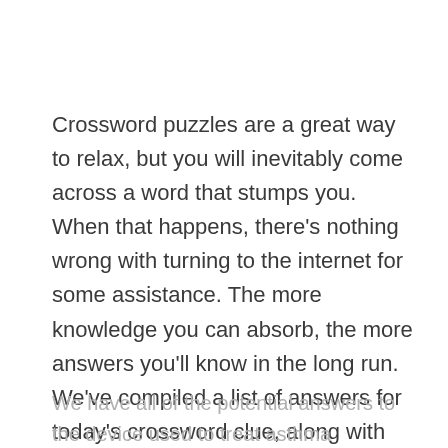Crossword puzzles are a great way to relax, but you will inevitably come across a word that stumps you. When that happens, there's nothing wrong with turning to the internet for some assistance. The more knowledge you can absorb, the more answers you'll know in the long run. We've compiled a list of answers for today's crossword clue, along with the letter count, to help you fill in today's grid.
We have all of the potential answers to the device used to treat asthma crossword clue